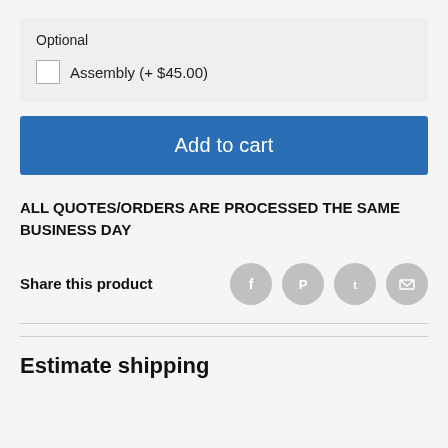Optional
Assembly (+ $45.00)
Add to cart
ALL QUOTES/ORDERS ARE PROCESSED THE SAME BUSINESS DAY
Share this product
Estimate shipping